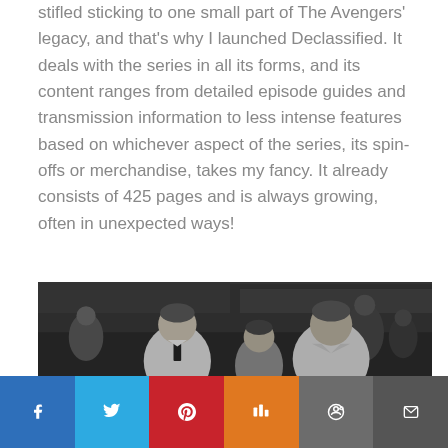stifled sticking to one small part of The Avengers' legacy, and that's why I launched Declassified. It deals with the series in all its forms, and its content ranges from detailed episode guides and transmission information to less intense features based on whichever aspect of the series, its spin-offs or merchandise, takes my fancy. It already consists of 425 pages and is always growing, often in unexpected ways!
[Figure (photo): Black and white photograph of three men in coats walking through a crowded street market]
Social sharing bar with Facebook, Twitter, Pinterest, Mix, Reddit, and Email buttons